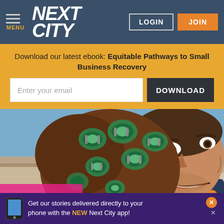NEXT CITY | LOGIN | JOIN
Download our latest ebook: Equitable Pathways to Small Business Recovery
[Figure (photo): Man with hair in large green curlers, laughing, outdoors. Partial text 'CHAO NEGRO' visible on left. Hero image for a Next City article.]
Get our stories delivered directly to your phone with the NEW Next City app!